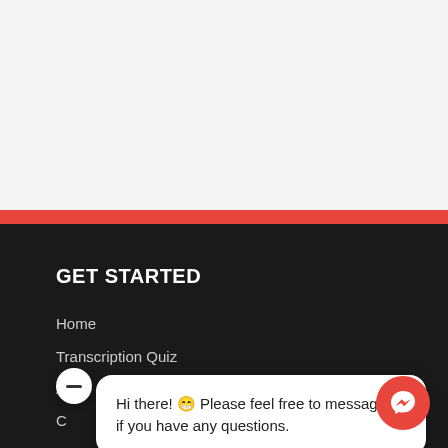[Figure (screenshot): Top light gray section of a webpage]
GET STARTED
Home
Transcription Quiz
[Figure (other): Chat popup widget with message: Hi there! Please feel free to message us if you have any questions. With a Messenger icon button in the bottom right.]